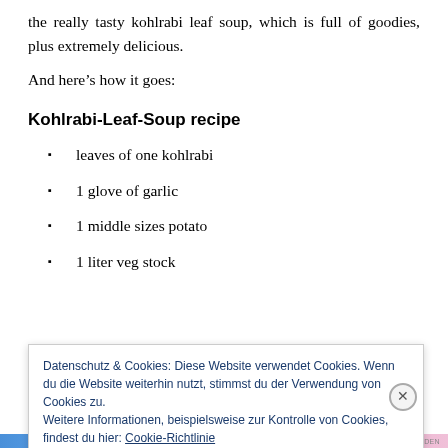the really tasty kohlrabi leaf soup, which is full of goodies, plus extremely delicious.
And here’s how it goes:
Kohlrabi-Leaf-Soup recipe
leaves of one kohlrabi
1 glove of garlic
1 middle sizes potato
1 liter veg stock
Datenschutz & Cookies: Diese Website verwendet Cookies. Wenn du die Website weiterhin nutzt, stimmst du der Verwendung von Cookies zu. Weitere Informationen, beispielsweise zur Kontrolle von Cookies, findest du hier: Cookie-Richtlinie
Schließen und Akzeptieren